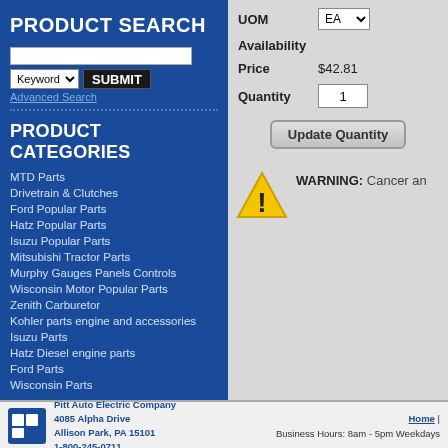PRODUCT SEARCH
Advanced Search
PRODUCT CATEGORIES
MTD Parts
Drivetrain & Clutches
Ford Popular Parts
Hatz Popular Parts
Isuzu Popular Parts
Mitsubishi Tractor Parts
Murphy Gauges Panels Controls
Wisconsin Motor Popular Parts
Zenith Carburetor
Kohler parts engine and accessories
Isuzu Parts
Hatz Diesel engine parts
Ford Parts
Wisconsin Parts
| Field | Value |
| --- | --- |
| UOM | EA |
| Availability |  |
| Price | $42.81 |
| Quantity | 1 |
WARNING: Cancer an
Pitt Auto Electric Company 4085 Alpha Drive Allison Park, PA 15101 1-800-245-0711 | Business Hours: 8am - 5pm Weekdays | Home